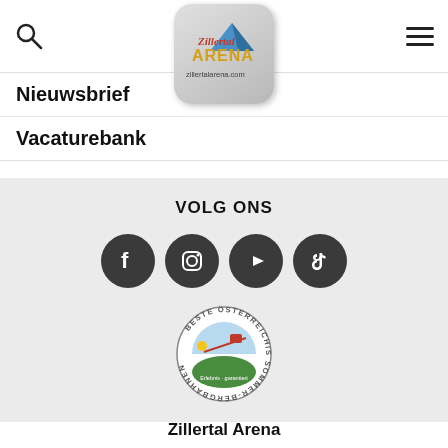[Figure (logo): Zillertal Arena logo with mountain graphic and text 'zillertalarena.com' inside a rounded rectangle]
Nieuwsbrief
Vacaturebank
VOLG ONS
[Figure (illustration): Four social media icons in dark circles: Facebook, Instagram, YouTube, TikTok]
[Figure (logo): Beste Österreichische Sommer-Bergbahnen circular badge with mountain gondola illustration]
Zillertal Arena